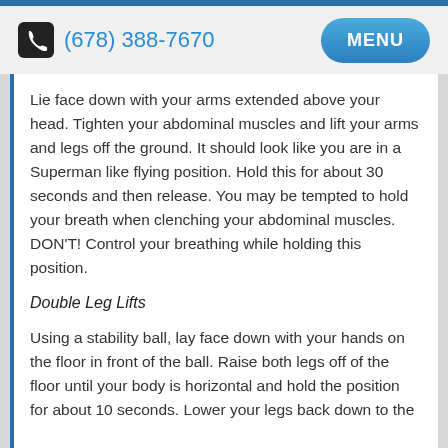(678) 388-7670  MENU
Lie face down with your arms extended above your head. Tighten your abdominal muscles and lift your arms and legs off the ground. It should look like you are in a Superman like flying position. Hold this for about 30 seconds and then release. You may be tempted to hold your breath when clenching your abdominal muscles. DON'T! Control your breathing while holding this position.
Double Leg Lifts
Using a stability ball, lay face down with your hands on the floor in front of the ball. Raise both legs off of the floor until your body is horizontal and hold the position for about 10 seconds. Lower your legs back down to the